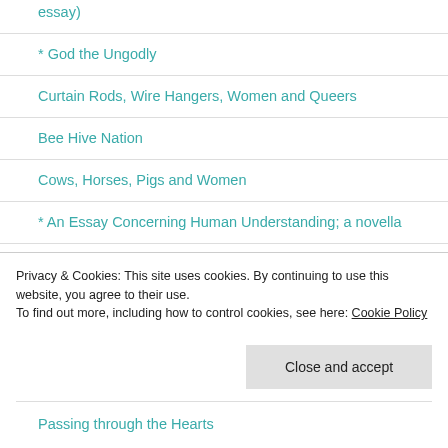essay)
* God the Ungodly
Curtain Rods, Wire Hangers, Women and Queers
Bee Hive Nation
Cows, Horses, Pigs and Women
* An Essay Concerning Human Understanding; a novella
Labyrinth and Abyss
Passing through the Hearts
Privacy & Cookies: This site uses cookies. By continuing to use this website, you agree to their use.
To find out more, including how to control cookies, see here: Cookie Policy